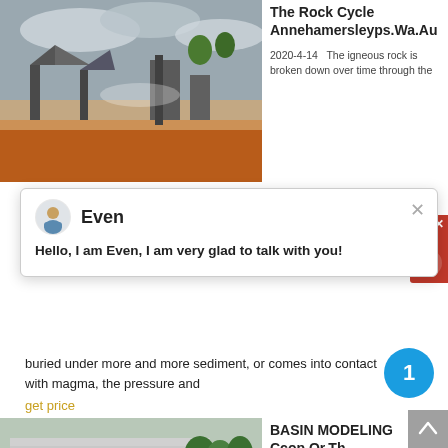[Figure (photo): Mining equipment and crusher plant at an outdoor site with cloudy sky and reddish soil]
The Rock Cycle Annehamersleyps.Wa.Au
2020-4-14   The igneous rock is broken down over time through the
[Figure (screenshot): Chat popup with avatar of Even saying: Hello, I am Even, I am very glad to talk with you!]
buried under more and more sediment, or comes into contact with magma, the pressure and
get price
[Figure (photo): Industrial factory building with machinery and trees in front]
BASIN MODELING Ccop.Or.Th
2012-4-14
Modollingoftheheat...